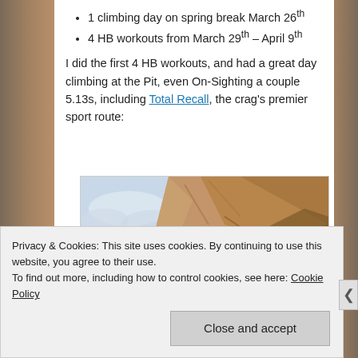1 climbing day on spring break March 26th
4 HB workouts from March 29th – April 9th
I did the first 4 HB workouts, and had a great day climbing at the Pit, even On-Sighting a couple 5.13s, including Total Recall, the crag's premier sport route:
[Figure (photo): Photograph of a rocky cliff face with overhanging sandstone wall, light blue sky visible on the left side of the image.]
Privacy & Cookies: This site uses cookies. By continuing to use this website, you agree to their use. To find out more, including how to control cookies, see here: Cookie Policy
Close and accept